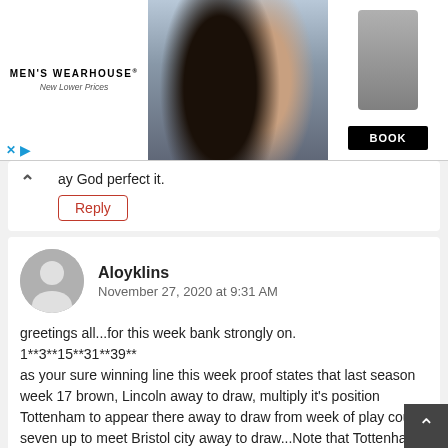[Figure (screenshot): Men's Wearhouse advertisement banner showing a couple in formal wear and a man in a suit, with a BOOK button]
ay God perfect it.
Reply
Aloyklins
November 27, 2020 at 9:31 AM
greetings all...for this week bank strongly on. 1**3**15**31**39** as your sure winning line this week proof states that last season week 17 brown, Lincoln away to draw, multiply it's position Tottenham to appear there away to draw from week of play count seven up to meet Bristol city away to draw...Note that Tottenham opponent will go back to last brown and meet Burnley at number two